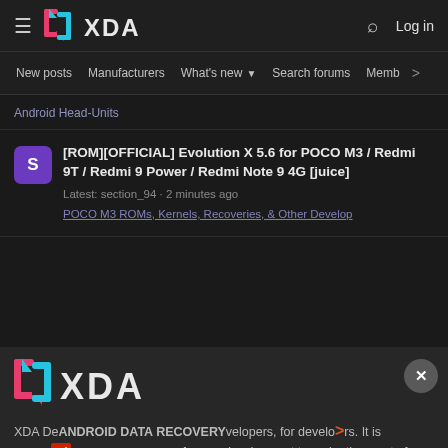XDA Developers — Navigation bar with logo, search, login
New posts  Manufacturers  What's new  Search forums  Members  >
Android Head-Units
[ROM][OFFICIAL] Evolution X 5.6 for POCO M3 / Redmi 9T / Redmi 9 Power / Redmi Note 9 4G [juice]
Latest: section_94 · 2 minutes ago
POCO M3 ROMs, Kernels, Recoveries, & Other Develop
[Figure (logo): XDA Developers logo (large) on dark background]
ANDROID DATA RECOVERY
XDA Developers, for developers. It is now a resource for people who want to make the most of their mobile devices, from customizing the look and feel to adding
Ad | An AMG Site